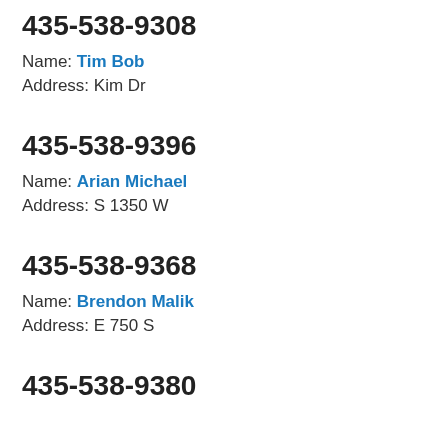435-538-9308
Name: Tim Bob
Address: Kim Dr
435-538-9396
Name: Arian Michael
Address: S 1350 W
435-538-9368
Name: Brendon Malik
Address: E 750 S
435-538-9380